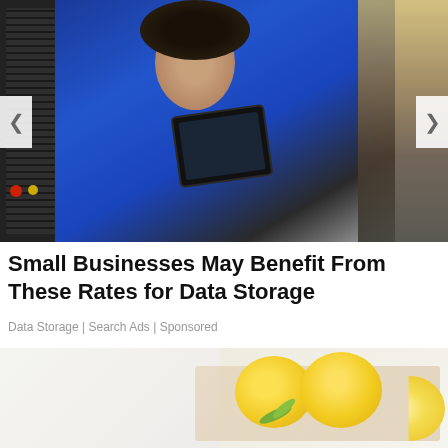[Figure (photo): Woman in blue work uniform holding a tablet device, standing in front of industrial machinery with control panels on the left. Right side shows a blurred golden/brown background element. Navigation arrows visible on left and right edges.]
Small Businesses May Benefit From These Rates for Data Storage
Data Storage | Search Ads | Sponsored
[Figure (photo): Close-up photo of lemons — whole and halved — on a light surface, with a herb sprig, on a white/cream background.]